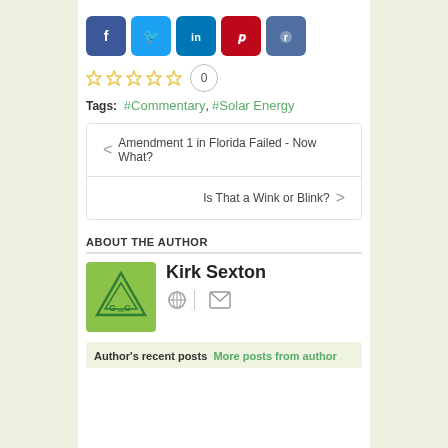[Figure (infographic): Social sharing buttons: Facebook (blue), Twitter (light blue), LinkedIn (blue), Pinterest (red), Reddit (dark blue)]
[Figure (infographic): Five star rating icons (empty/gold outline) with vote count 0 in a circle]
Tags: #Commentary, #Solar Energy
< Amendment 1 in Florida Failed - Now What?
Is That a Wink or Blink? >
ABOUT THE AUTHOR
[Figure (logo): Kirk Sexton author avatar - green square with triangle and 'G G' logo]
Kirk Sexton
Author's recent posts  More posts from author